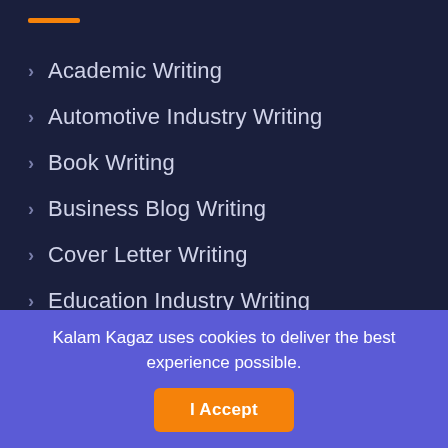Academic Writing
Automotive Industry Writing
Book Writing
Business Blog Writing
Cover Letter Writing
Education Industry Writing
Entertainment and Gaming Writing
Fashion and Clothing Writing
Kalam Kagaz uses cookies to deliver the best experience possible.
I Accept